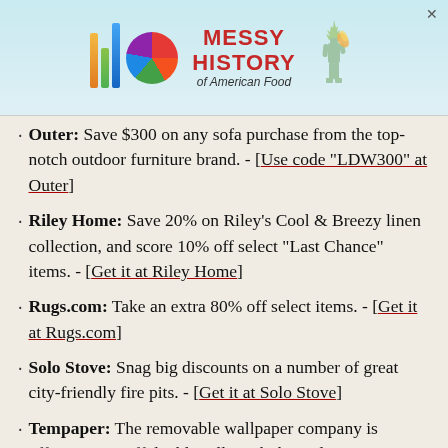[Figure (advertisement): Ad banner for 'Messy History of American Food' with colorful bar chart logo, multicolor circle, title text in red, and Statue of Liberty illustration on light blue background. Close button (×) top right.]
Outer: Save $300 on any sofa purchase from the top-notch outdoor furniture brand. - [Use code "LDW300" at Outer]
Riley Home: Save 20% on Riley's Cool & Breezy linen collection, and score 10% off select "Last Chance" items. - [Get it at Riley Home]
Rugs.com: Take an extra 80% off select items. - [Get it at Rugs.com]
Solo Stove: Snag big discounts on a number of great city-friendly fire pits. - [Get it at Solo Stove]
Tempaper: The removable wallpaper company is offering 25% off double rolls with the code "REFRESH25" and 15% off single rolls with the